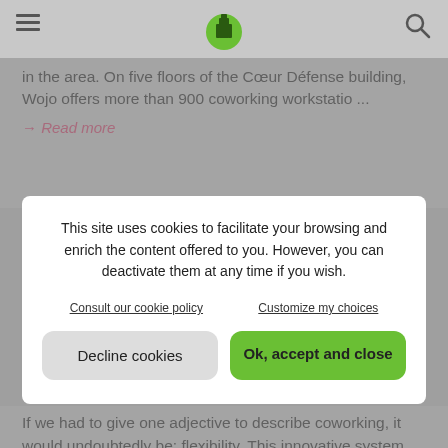[Header with hamburger menu, logo, search icon]
in the area. On five floors of the Cœur Défense building, Wojo offers more than 900 coworking workstatio ...
→ Read more
This site uses cookies to facilitate your browsing and enrich the content offered to you. However, you can deactivate them at any time if you wish.
Consult our cookie policy
Customize my choices
Decline cookies
Ok, accept and close
If we had to give one adjective to describe coworking, it would undoubtedly be: flexibility. This innovative system makes it possible to rent work spaces of different sizes, at different times of the day for one or more people, with or without furniture, with WiFi, printing points, meeting spaces with video projector or